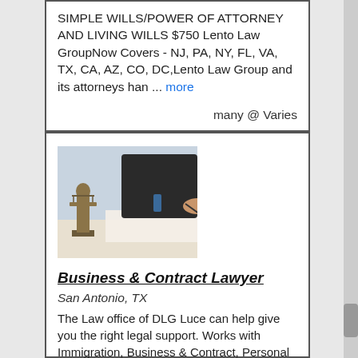SIMPLE WILLS/POWER OF ATTORNEY AND LIVING WILLS $750 Lento Law GroupNow Covers - NJ, PA, NY, FL, VA, TX, CA, AZ, CO, DC,Lento Law Group and its attorneys han ... more
many @ Varies
[Figure (photo): Photo of a lawyer at a desk with Lady Justice statue in foreground and person signing documents in background]
Business & Contract Lawyer
San Antonio, TX
The Law office of DLG Luce can help give you the right legal support. Works with Immigration, Business & Contract, Personal Injury and more. Offices in San Antonio & Austin. www.dlgluce.com